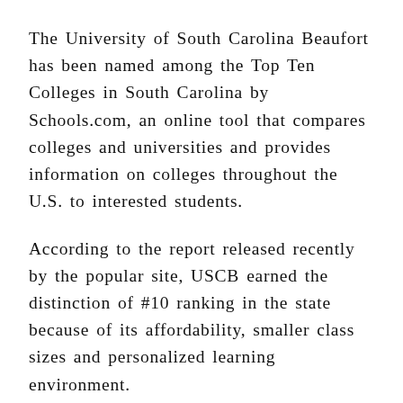The University of South Carolina Beaufort has been named among the Top Ten Colleges in South Carolina by Schools.com, an online tool that compares colleges and universities and provides information on colleges throughout the U.S. to interested students.
According to the report released recently by the popular site, USCB earned the distinction of #10 ranking in the state because of its affordability, smaller class sizes and personalized learning environment.
The site said that students looking for a bargain should head to USCB and mentioned the university also offers a number of options, such